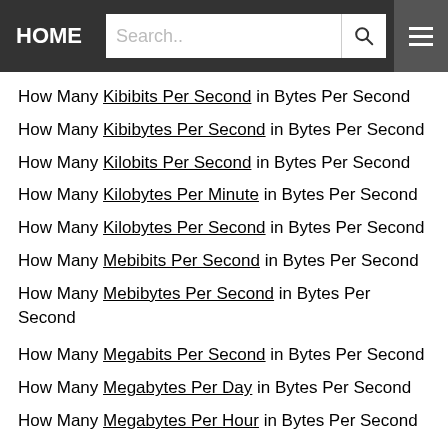HOME | Search..
How Many Kibibits Per Second in Bytes Per Second
How Many Kibibytes Per Second in Bytes Per Second
How Many Kilobits Per Second in Bytes Per Second
How Many Kilobytes Per Minute in Bytes Per Second
How Many Kilobytes Per Second in Bytes Per Second
How Many Mebibits Per Second in Bytes Per Second
How Many Mebibytes Per Second in Bytes Per Second
How Many Megabits Per Second in Bytes Per Second
How Many Megabytes Per Day in Bytes Per Second
How Many Megabytes Per Hour in Bytes Per Second